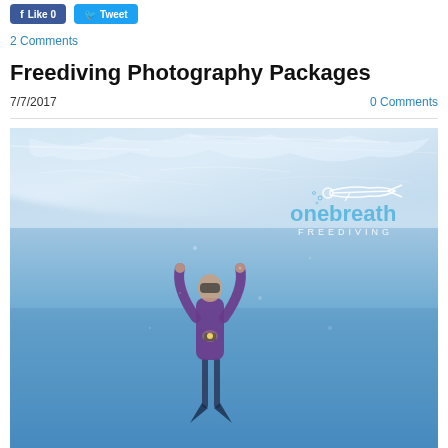Like 0  Tweet
2 Comments
Freediving Photography Packages
7/7/2017   0 Comments
[Figure (photo): Underwater freediving photo with a diver in a purple wetsuit ascending toward the water surface, looking upward with arms raised. The One Breath Freediving logo is overlaid in the upper right area of the image. The water is a clear blue with light filtering from above.]